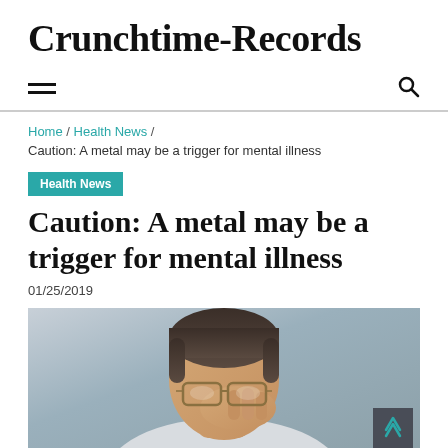Crunchtime-Records
Caution: A metal may be a trigger for mental illness
Home / Health News / Caution: A metal may be a trigger for mental illness
Health News
01/25/2019
[Figure (photo): A person holding glasses to their face with hand on forehead, appearing stressed or in discomfort]